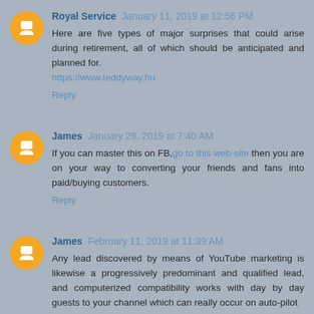Royal Service  January 11, 2019 at 12:56 PM
Here are five types of major surprises that could arise during retirement, all of which should be anticipated and planned for.
https://www.teddyway.hu
Reply
James  January 29, 2019 at 7:40 AM
If you can master this on FB,go to this web-site then you are on your way to converting your friends and fans into paid/buying customers.
Reply
James  February 11, 2019 at 11:39 AM
Any lead discovered by means of YouTube marketing is likewise a progressively predominant and qualified lead, and computerized compatibility works with day by day guests to your channel which can really occur on auto-pilot